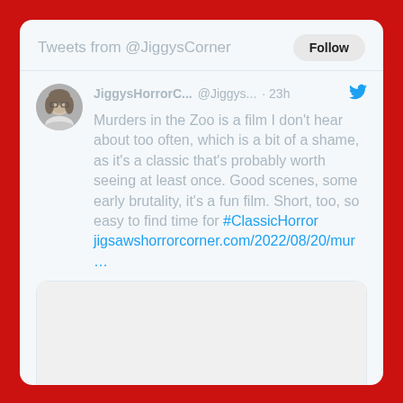Tweets from @JiggysCorner
[Figure (photo): Profile photo of a person with glasses and shoulder-length hair, circular avatar]
JiggysHorrorC... @Jiggys... · 23h
Murders in the Zoo is a film I don't hear about too often, which is a bit of a shame, as it's a classic that's probably worth seeing at least once. Good scenes, some early brutality, it's a fun film. Short, too, so easy to find time for #ClassicHorror jigsawshorrorcorner.com/2022/08/20/mur …
[Figure (screenshot): Link preview card with blank image area and jigsawshorrorcorner.com URL footer]